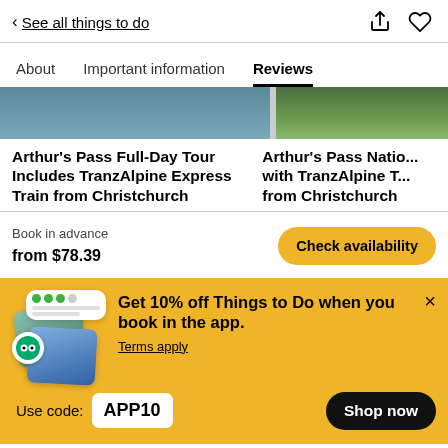< See all things to do
About   Important information   Reviews
[Figure (photo): Two travel listing thumbnail images side by side: left shows mountain/rocky landscape (Arthur's Pass), right shows green nature scene.]
Arthur's Pass Full-Day Tour Includes TranzAlpine Express Train from Christchurch
Arthur's Pass Natio... with TranzAlpine T... from Christchurch
Book in advance
from $78.39
Check availability
[Figure (illustration): Promotional banner with yellow background showing app promotion illustration with phone/cards and TripAdvisor badge.]
Get 10% off Things to Do when you book in the app.
Terms apply
Use code: APP10
Shop now